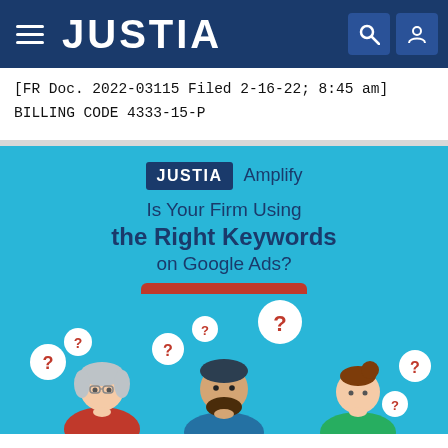JUSTIA
[FR Doc. 2022-03115 Filed 2-16-22; 8:45 am]
BILLING CODE 4333-15-P
[Figure (infographic): Justia Amplify advertisement banner with text 'Is Your Firm Using the Right Keywords on Google Ads?' with a red 'Let Us Help' button and illustrated people with question mark thought bubbles below.]